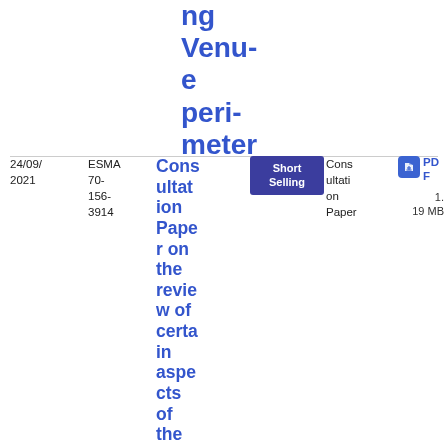ng Venue perimeter
| Date | Reference | Title | Tag | Type | File |
| --- | --- | --- | --- | --- | --- |
| 24/09/2021 | ESMA 70-156-3914 | Consultation Paper on the review of certain aspects of the Short Selling | Short Selling | Consultation Paper | PDF 1.19 MB |